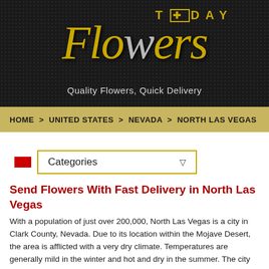[Figure (logo): Today Flowers logo on dark dotted background with gold script text 'Today Flowers' and tagline 'Quality Flowers, Quick Delivery']
HOME > UNITED STATES > NEVADA > NORTH LAS VEGAS
Send Flowers With Fast Delivery in North Las Vegas
With a population of just over 200,000, North Las Vegas is a city in Clark County, Nevada. Due to its location within the Mojave Desert, the area is afflicted with a very dry climate. Temperatures are generally mild in the winter and hot and dry in the summer. The city and surrounding area enjoys a variety of attractions, such as the Stratosphere Tower, where excellent views of the Strip and Las Vegas are visible. There are 3 different rides at the top of the tower, which can be purchased along with entrance tickets. Even though the area is known for its arid desert climate, it enjoys a large variety of native plants and flora. A notable plant is the Wild Rhubarb. Often seen growing by the roadsides, Wild Rhubarb is a weed that has a similar appearance to garden varieties of